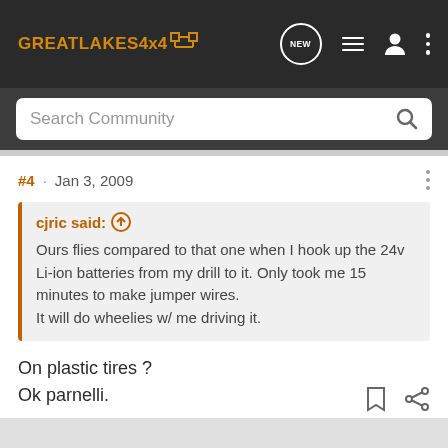GREATLAKES4x4 [logo] — navigation bar with Search Community
#4 · Jan 3, 2009
cjric said: ↑
Ours flies compared to that one when I hook up the 24v Li-ion batteries from my drill to it. Only took me 15 minutes to make jumper wires.
It will do wheelies w/ me driving it.
On plastic tires ?
Ok parnelli.